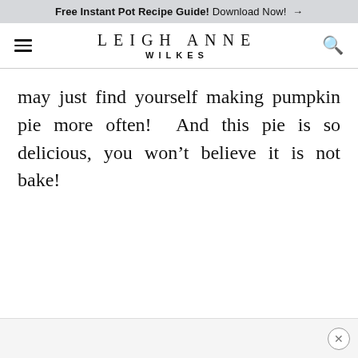Free Instant Pot Recipe Guide! Download Now! →
LEIGH ANNE WILKES
may just find yourself making pumpkin pie more often!  And this pie is so delicious, you won't believe it is not bake!